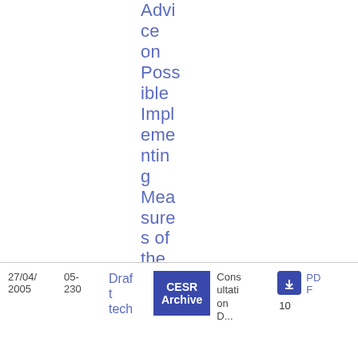Advice on Possible Implementing Measures of the Transparency Directive
| Date | Doc# | Type | Archive | Description | Download | Pages |
| --- | --- | --- | --- | --- | --- | --- |
| 27/04/2005 | 05-230 | Draft tech | CESR Archive | Consultation D... | PDF | 10 |